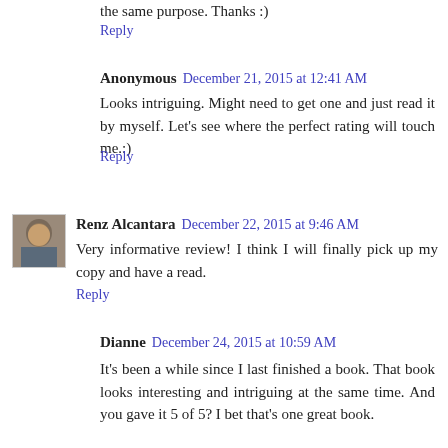the same purpose. Thanks :)
Reply
Anonymous  December 21, 2015 at 12:41 AM
Looks intriguing. Might need to get one and just read it by myself. Let's see where the perfect rating will touch me.:)
Reply
[Figure (photo): User avatar photo of Renz Alcantara]
Renz Alcantara  December 22, 2015 at 9:46 AM
Very informative review! I think I will finally pick up my copy and have a read.
Reply
Dianne  December 24, 2015 at 10:59 AM
It's been a while since I last finished a book. That book looks interesting and intriguing at the same time. And you gave it 5 of 5? I bet that's one great book.